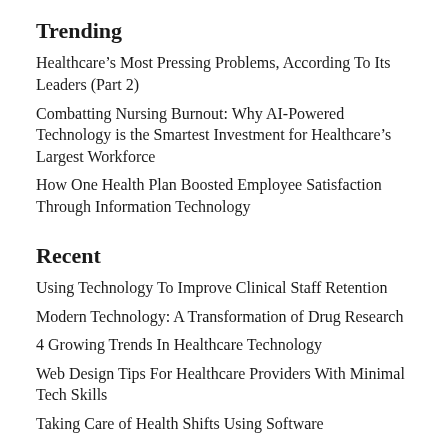Trending
Healthcare’s Most Pressing Problems, According To Its Leaders (Part 2)
Combatting Nursing Burnout: Why AI-Powered Technology is the Smartest Investment for Healthcare’s Largest Workforce
How One Health Plan Boosted Employee Satisfaction Through Information Technology
Recent
Using Technology To Improve Clinical Staff Retention
Modern Technology: A Transformation of Drug Research
4 Growing Trends In Healthcare Technology
Web Design Tips For Healthcare Providers With Minimal Tech Skills
Taking Care of Health Shifts Using Software